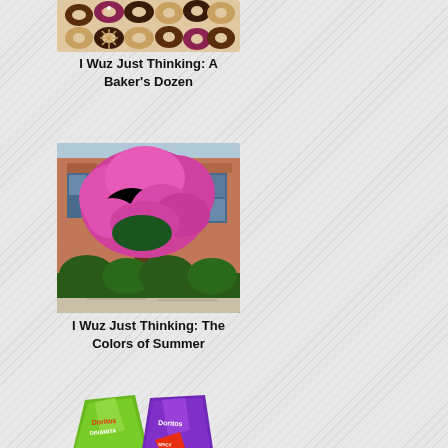[Figure (photo): Box of assorted donuts — chocolate frosted, pink frosted, plain glazed, and decorated donuts]
I Wuz Just Thinking: A Baker's Dozen
[Figure (photo): Large crepe myrtle tree in full bloom with bright pink/magenta flowers, in front of a brick building with green hedges below]
I Wuz Just Thinking: The Colors of Summer
[Figure (photo): Two bags of Doritos chips — one green bag (Doritos brand) and one purple bag, displayed with colorful chips scattered around]